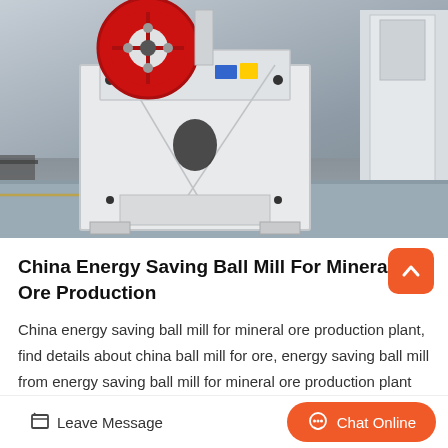[Figure (photo): Industrial jaw crusher machine, white body with red flywheel, in a factory setting. Multiple similar machines visible in the background on a grey concrete floor.]
China Energy Saving Ball Mill For Mineral Ore Production
China energy saving ball mill for mineral ore production plant, find details about china ball mill for ore, energy saving ball mill from energy saving ball mill for mineral ore production plant zhengzho…